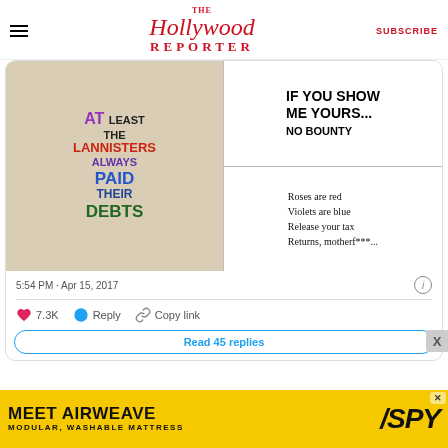The Hollywood Reporter | SUBSCRIBE
[Figure (photo): Four protest signs: top-left sign reads 'AT least THE LANNISTERS ALWAYS PAID THEIR DEBTS'; top-right sign reads 'IF YOU SHOW ME YOURS... NO BOUNTY'; bottom-right sign reads 'Roses are red Violets are blue Release your tax Returns, motherf***...']
5:54 PM · Apr 15, 2017
7.3K   Reply   Copy link
Read 45 replies
[Figure (screenshot): MEET AIRWEAVE MODULAR, WASHABLE MATTRESS advertisement with SPY logo]